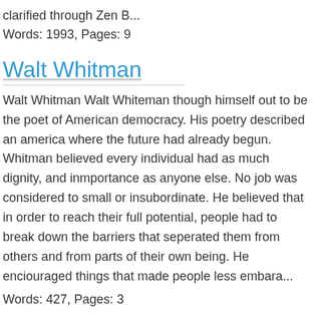clarified through Zen B...
Words: 1993, Pages: 9
Walt Whitman
Walt Whitman Walt Whiteman though himself out to be the poet of American democracy. His poetry described an america where the future had already begun. Whitman believed every individual had as much dignity, and inmportance as anyone else. No job was considered to small or insubordinate. He believed that in order to reach their full potential, people had to break down the barriers that seperated them from others and from parts of their own being. He enciouraged things that made people less embara...
Words: 427, Pages: 3
whose deformity is more serious